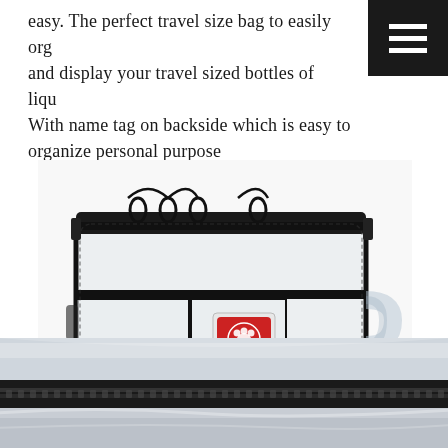easy. The perfect travel size bag to easily organize and display your travel sized bottles of liquids. With name tag on backside which is easy to organize personal purpose
[Figure (photo): A clear transparent travel toiletry bag with black zipper trim, dual zippers at top with pull loops, a front pocket with a small red branded logo patch, and a side handle. The bag is see-through PVC/vinyl material.]
[Figure (photo): Close-up detail shot of the top portion of the clear travel bag showing the black zipper and clear vinyl material in high contrast.]